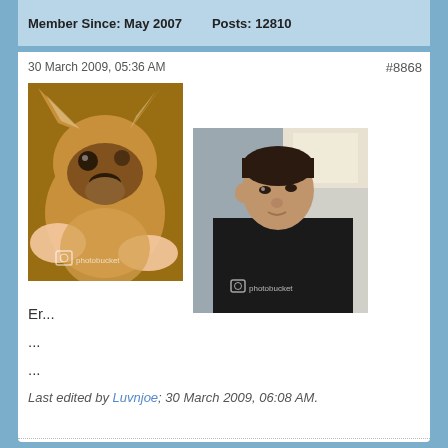Member Since: May 2007    Posts: 12810
30 March 2009, 05:36 AM
#8868
[Figure (photo): A person holding a boxer puppy close to the camera, indoor setting]
[Figure (photo): A man in a dark shirt looking sideways, kitchen background]
Er...
...
...
Last edited by Luvnjoe; 30 March 2009, 06:08 AM.